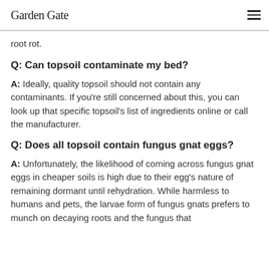Garden Gate
root rot.
Q: Can topsoil contaminate my bed?
A: Ideally, quality topsoil should not contain any contaminants. If you're still concerned about this, you can look up that specific topsoil's list of ingredients online or call the manufacturer.
Q: Does all topsoil contain fungus gnat eggs?
A: Unfortunately, the likelihood of coming across fungus gnat eggs in cheaper soils is high due to their egg's nature of remaining dormant until rehydration. While harmless to humans and pets, the larvae form of fungus gnats prefers to munch on decaying roots and the fungus that